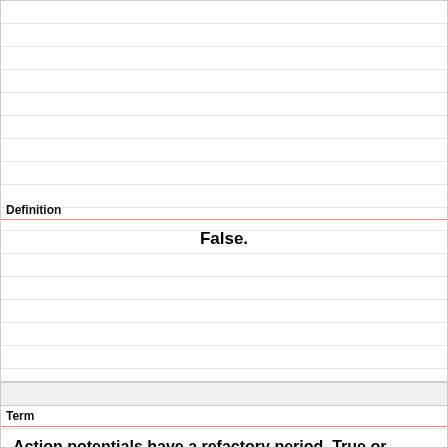Definition
False.
Term
Action potentials have a refactory period. True or false?